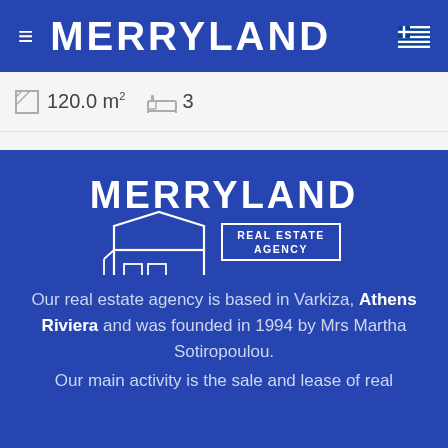MERRYLAND
120.0 m² 3
[Figure (logo): Merryland Real Estate Agency logo — house illustration with text MERRYLAND above and REAL ESTATE AGENCY in a box to the right]
Our real estate agency is based in Varkiza, Athens Riviera and was founded in 1994 by Mrs Martha Sotiropoulou.
Our main activity is the sale and lease of real